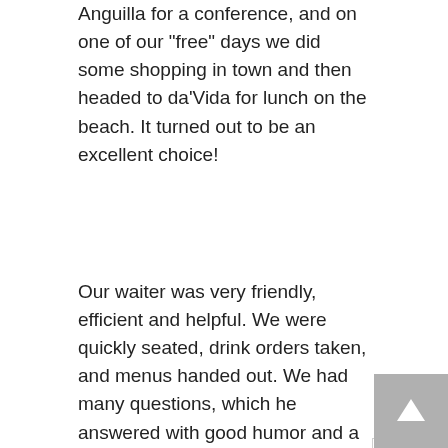A group of us were recently on Anguilla for a conference, and on one of our "free" days we did some shopping in town and then headed to da'Vida for lunch on the beach. It turned out to be an excellent choice!
Our waiter was very friendly, efficient and helpful. We were quickly seated, drink orders taken, and menus handed out. We had many questions, which he answered with good humor and a smile, making recommendations according to our tastes, and proudly listing the locally caught seafood items that were available.
I was surprised to find a couple of vegetarian options on the menu (though I also eat some fish so wouldn't have been disappointed with this). I settled on the portabello mushroom burger and my friend had the mahi mahi salad and a traditional island specialty,